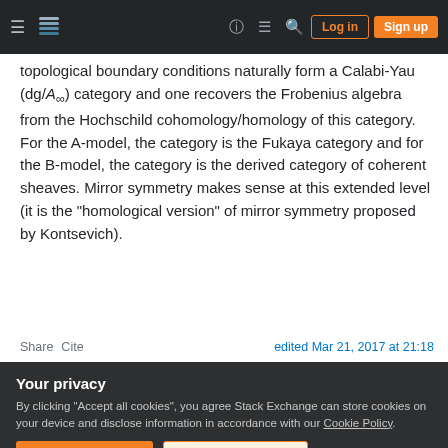Stack Exchange navigation bar with hamburger menu, logo, help, chat, search icons, Log in and Sign up buttons
topological boundary conditions naturally form a Calabi-Yau (dg/A∞) category and one recovers the Frobenius algebra from the Hochschild cohomology/homology of this category. For the A-model, the category is the Fukaya category and for the B-model, the category is the derived category of coherent sheaves. Mirror symmetry makes sense at this extended level (it is the "homological version" of mirror symmetry proposed by Kontsevich).
Share Cite   edited Mar 21, 2017 at 21:18
Your privacy
By clicking "Accept all cookies", you agree Stack Exchange can store cookies on your device and disclose information in accordance with our Cookie Policy.
Accept all cookies   Customize settings
1   Good answer but I think it's misleading to say mirror